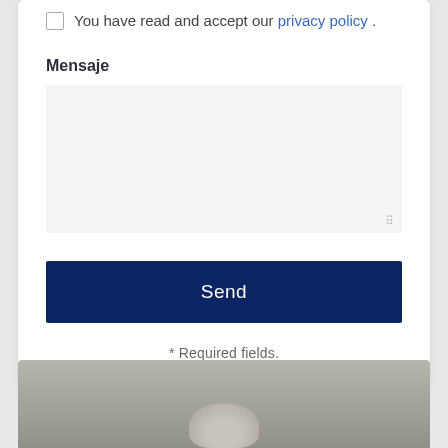You have read and accept our privacy policy .
Mensaje
* Required fields.
[Figure (photo): A partial photo of an interior or object, muted gray background with a light-colored shape at the bottom center, visible at the bottom of the page.]